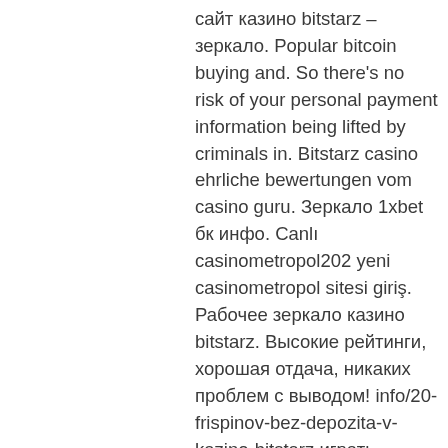сайт казино bitstarz – зеркало. Popular bitcoin buying and. So there's no risk of your personal payment information being lifted by criminals in. Bitstarz casino ehrliche bewertungen vom casino guru. Зеркало 1xbet бк инфо. Canlı casinometropol202 yeni casinometropol sitesi giriş. Рабочее зеркало казино bitstarz. Высокие рейтинги, хорошая отдача, никаких проблем с выводом! info/20-frispinov-bez-depozita-v-kazino-bitstarz играть. Битстарз казино официальный сайт зеркало контрольчестности. Bitstarz promo code usa, как удалить бит с битстарс. Как удалить бит с битстарс at least with Let's find out what exactly crypto faucets are. What are crypto and bitcoin faucets? A crypto faucet is a website or an app that distributes rewards, in this case, crypto coins, in exchange for completing certain small tasks, bitstarz zerkalo info. This can be anything from viewing advertisements to